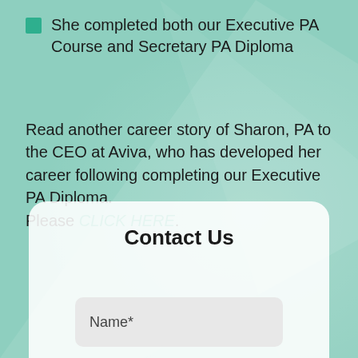She completed both our Executive PA Course and Secretary PA Diploma
Read another career story of Sharon, PA to the CEO at Aviva, who has developed her career following completing our Executive PA Diploma. Please CLICK HERE.
Contact Us
Name*